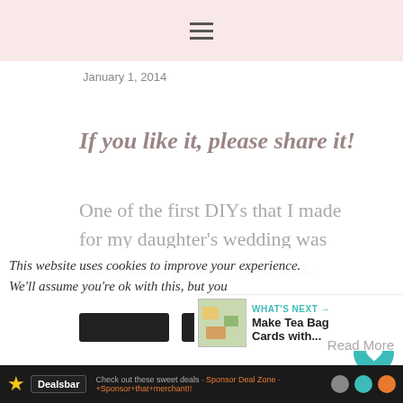≡
January 1, 2014
If you like it, please share it!
One of the first DIYs that I made for my daughter's wedding was this Wedding Cake Card Box.
This website uses cookies to improve your experience. We'll assume you're ok with this, but you
WHAT'S NEXT → Make Tea Bag Cards with...
★ Dealsbar  Check out these sweet deals · Sponsor Deal Zone · +Sponsor+that+merchant!!  ⊙ ⊙ ⊙